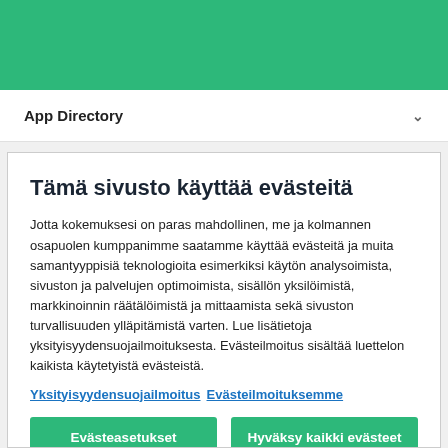[Figure (screenshot): Green header bar with app logo area]
App Directory
Tämä sivusto käyttää evästeitä
Jotta kokemuksesi on paras mahdollinen, me ja kolmannen osapuolen kumppanimme saatamme käyttää evästeitä ja muita samantyyppisiä teknologioita esimerkiksi käytön analysoimista, sivuston ja palvelujen optimoimista, sisällön yksilöimistä, markkinoinnin räätälöimistä ja mittaamista sekä sivuston turvallisuuden ylläpitämistä varten. Lue lisätietoja yksityisyydensuojailmoituksesta. Evästeilmoitus sisältää luettelon kaikista käytetyistä evästeistä.
Yksityisyydensuojailmoitus Evästeilmoituksemme
Evästeasetukset
Hyväksy kaikki evästeet